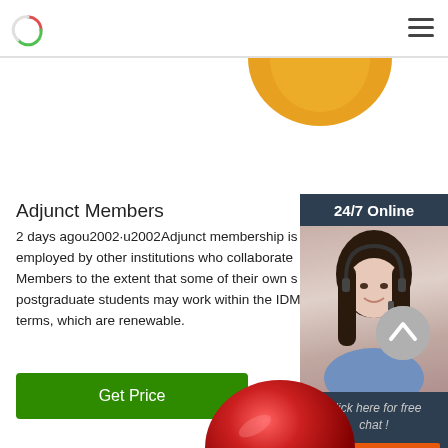[Figure (logo): Circular logo with red and green arc]
[Figure (illustration): Orange/yellow circular ball, partially visible at top center]
Adjunct Members
2 days agou2002·u2002Adjunct membership is for academics employed by other institutions who collaborate Members to the extent that some of their own students/postgraduate students may work within the IDM terms, which are renewable.
[Figure (photo): 24/7 Online chat widget with photo of smiling woman wearing headset, dark blue background, orange QUOTATION button]
[Figure (illustration): Back to top arrow button (grey circle with upward chevron)]
[Figure (illustration): Red metallic circular shape, partially visible at bottom center]
Get Price